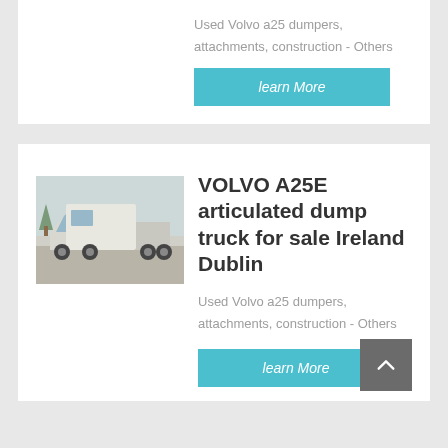Used Volvo a25 dumpers, attachments, construction - Others
learn More
VOLVO A25E articulated dump truck for sale Ireland Dublin
[Figure (photo): White Volvo articulated dump truck / tractor unit parked outdoors with trees in background]
Used Volvo a25 dumpers, attachments, construction - Others
learn More